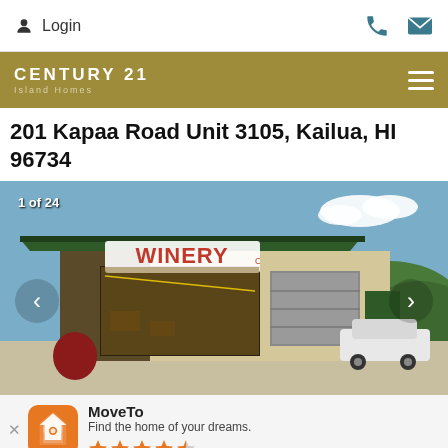Login
[Figure (logo): Century 21 Island Homes logo on gold/olive background]
201 Kapaa Road Unit 3105, Kailua, HI 96734
[Figure (photo): Exterior photo of commercial/warehouse building with WINERY sign, green metal roof, garage doors, blue sky, parked white SUV. Counter shows 1 of 24.]
MoveTo - Find the home of your dreams. 4-star rating.
Use App